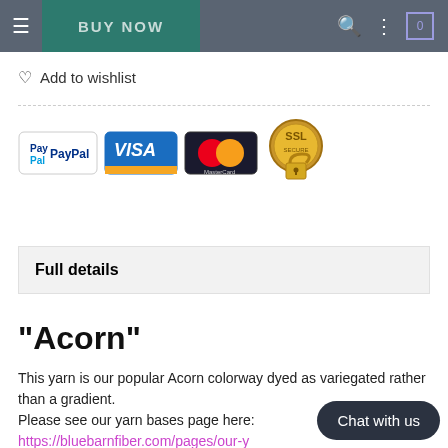BUY NOW
Add to wishlist
[Figure (infographic): Payment method icons: PayPal, Visa, MasterCard, SSL secure badge]
Full details
"Acorn"
This yarn is our popular Acorn colorway dyed as variegated rather than a gradient.
Please see our yarn bases page here: https://bluebarnfiber.com/pages/our-y... list and description of all of the base options available. (You may need to allow pop ups as this link will open in a
Chat with us